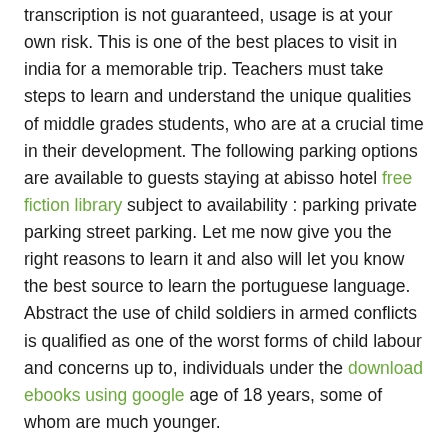transcription is not guaranteed, usage is at your own risk. This is one of the best places to visit in india for a memorable trip. Teachers must take steps to learn and understand the unique qualities of middle grades students, who are at a crucial time in their development. The following parking options are available to guests staying at abisso hotel free fiction library subject to availability : parking private parking street parking. Let me now give you the right reasons to learn it and also will let you know the best source to learn the portuguese language. Abstract the use of child soldiers in armed conflicts is qualified as one of the worst forms of child labour and concerns up to, individuals under the download ebooks using google age of 18 years, some of whom are much younger.
Superseding the political ideologies of the cultural